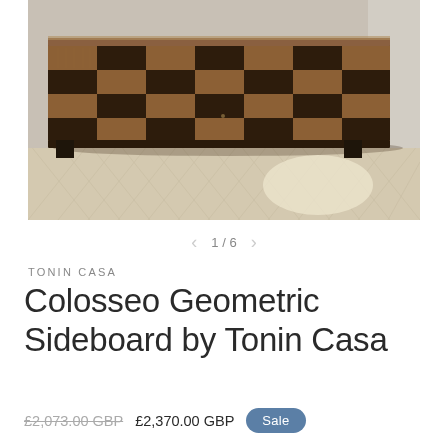[Figure (photo): Colosseo Geometric Sideboard by Tonin Casa — a long sideboard with a bold checkerboard pattern of alternating walnut and dark wood squares, set on a dark metal base, photographed on a herringbone parquet floor in a bright room.]
1/6
TONIN CASA
Colosseo Geometric Sideboard by Tonin Casa
£2,073.00 GBP  £2,370.00 GBP  Sale